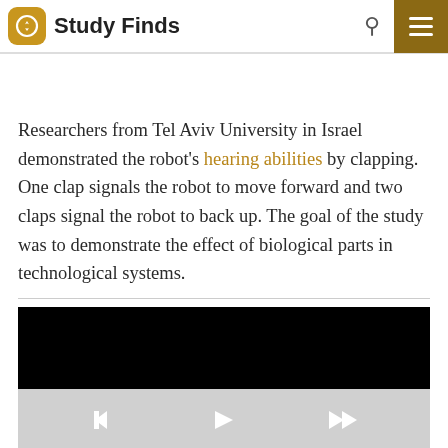Study Finds
Researchers from Tel Aviv University in Israel demonstrated the robot’s hearing abilities by clapping. One clap signals the robot to move forward and two claps signal the robot to back up. The goal of the study was to demonstrate the effect of biological parts in technological systems.
[Figure (screenshot): Embedded video player showing a black video frame with light gray controls bar below containing playback buttons]